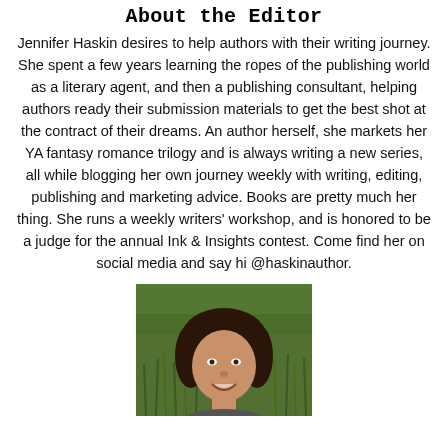About the Editor
Jennifer Haskin desires to help authors with their writing journey. She spent a few years learning the ropes of the publishing world as a literary agent, and then a publishing consultant, helping authors ready their submission materials to get the best shot at the contract of their dreams. An author herself, she markets her YA fantasy romance trilogy and is always writing a new series, all while blogging her own journey weekly with writing, editing, publishing and marketing advice. Books are pretty much her thing. She runs a weekly writers' workshop, and is honored to be a judge for the annual Ink & Insights contest. Come find her on social media and say hi @haskinauthor.
[Figure (photo): Headshot of Jennifer Haskin, a woman with dark brown hair, smiling, photographed outdoors in front of tall green grass.]